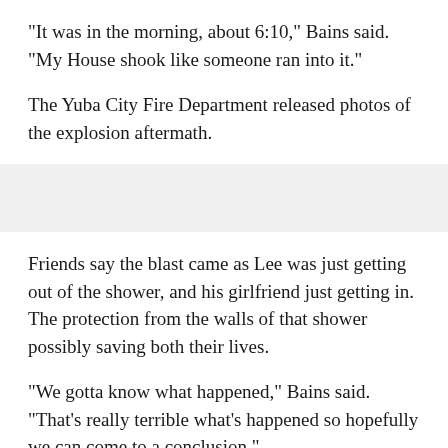"It was in the morning, about 6:10," Bains said. "My House shook like someone ran into it."
The Yuba City Fire Department released photos of the explosion aftermath.
[Figure (other): Gray placeholder bar representing an image area]
Friends say the blast came as Lee was just getting out of the shower, and his girlfriend just getting in. The protection from the walls of that shower possibly saving both their lives.
"We gotta know what happened," Bains said. "That's really terrible what's happened so hopefully we can come to a conclusion."